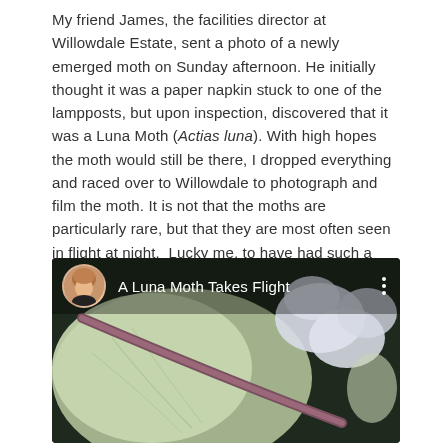My friend James, the facilities director at Willowdale Estate, sent a photo of a newly emerged moth on Sunday afternoon. He initially thought it was a paper napkin stuck to one of the lampposts, but upon inspection, discovered that it was a Luna Moth (Actias luna). With high hopes the moth would still be there, I dropped everything and raced over to Willowdale to photograph and film the moth. It is not that the moths are particularly rare, but that they are most often seen in flight at night.  Lucky me, to have had such a wonderful encounter with one of the most beautiful moths in all the world!
[Figure (screenshot): Video thumbnail showing a Luna Moth on a branch with white flowers, with a video title overlay 'A Luna Moth Takes Flight' and a small circular avatar photo of a woman.]